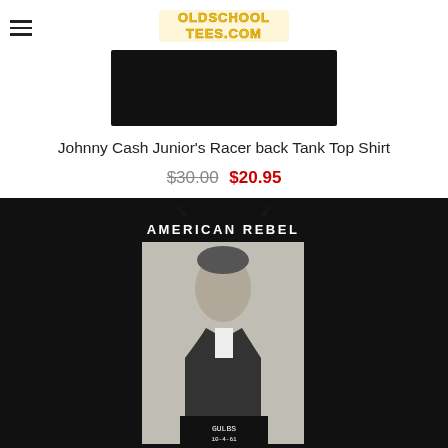OldSchoolTees.com
[Figure (photo): Black tank top product image shown from the back, black fabric against white background]
Johnny Cash Junior's Racer back Tank Top Shirt
$30.00 $20.95
[Figure (photo): Black t-shirt with Johnny Cash mugshot photo and text 'AMERICAN REBEL' printed on the front]